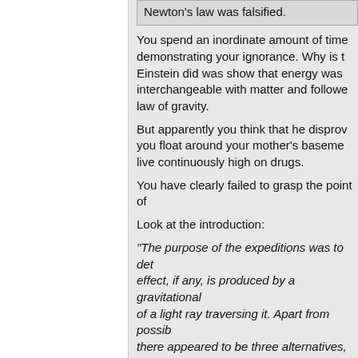Newton's law was falsified.
You spend an inordinate amount of time demonstrating your ignorance. Why is th... Einstein did was show that energy was interchangeable with matter and followe... law of gravity.
But apparently you think that he disprov... you float around your mother's baseme... live continuously high on drugs.
You have clearly failed to grasp the point of
Look at the introduction:
"The purpose of the expeditions was to det... effect, if any, is produced by a gravitational... of a light ray traversing it. Apart from possib... there appeared to be three alternatives, wh... especially desired to discriminate between-
1) The path is uninfluenced by gravitation.
2) The energy or mass of light is subject to the same way as ordinary matter. If the law